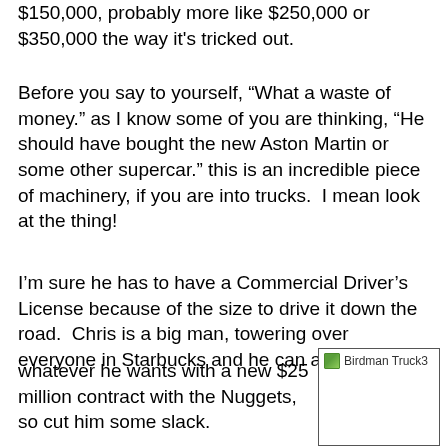$150,000, probably more like $250,000 or $350,000 the way it's tricked out.
Before you say to yourself, “What a waste of money.” as I know some of you are thinking, “He should have bought the new Aston Martin or some other supercar.” this is an incredible piece of machinery, if you are into trucks.  I mean look at the thing!
I’m sure he has to have a Commercial Driver’s License because of the size to drive it down the road.  Chris is a big man, towering over everyone in Starbucks and he can afford to drive whatever he wants with a new $25 million contract with the Nuggets, so cut him some slack.
[Figure (photo): Image placeholder labeled 'Birdman Truck3']